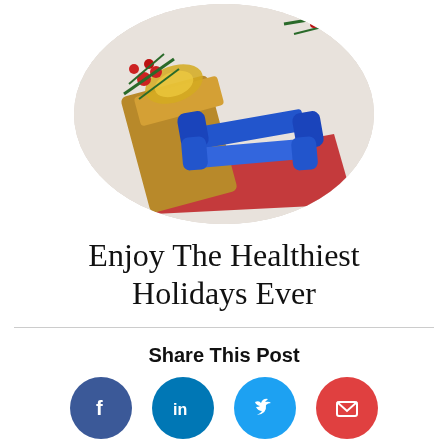[Figure (photo): Circular photo of blue dumbbells spilling out of a brown paper bag with Christmas decorations including red berries and pine on a white background with a red napkin]
Enjoy The Healthiest Holidays Ever
Share This Post
[Figure (illustration): Social media share buttons: Facebook (dark blue circle with f icon), LinkedIn (blue circle with in icon), Twitter (light blue circle with bird icon), Email (red circle with envelope icon)]
Good Health is a Blessing